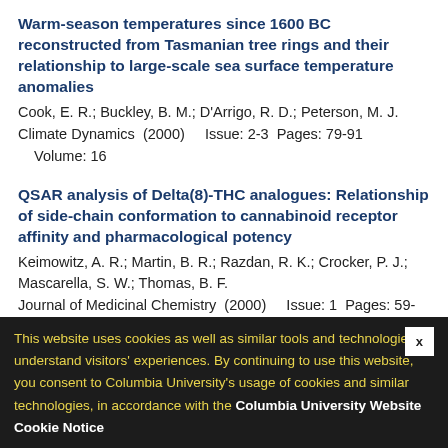Warm-season temperatures since 1600 BC reconstructed from Tasmanian tree rings and their relationship to large-scale sea surface temperature anomalies
Cook, E. R.; Buckley, B. M.; D'Arrigo, R. D.; Peterson, M. J.
Climate Dynamics  (2000)    Issue: 2-3  Pages: 79-91    Volume: 16
QSAR analysis of Delta(8)-THC analogues: Relationship of side-chain conformation to cannabinoid receptor affinity and pharmacological potency
Keimowitz, A. R.; Martin, B. R.; Razdan, R. K.; Crocker, P. J.; Mascarella, S. W.; Thomas, B. F.
Journal of Medicinal Chemistry  (2000)    Issue: 1  Pages: 59-70
Volume: 43
1992
Regulation of aminophospholipid...
Bitbol, M.; Morrot, G.; Falvey, D.; Williamson, P.; Brassil, F.; Lorenzo, J. M.